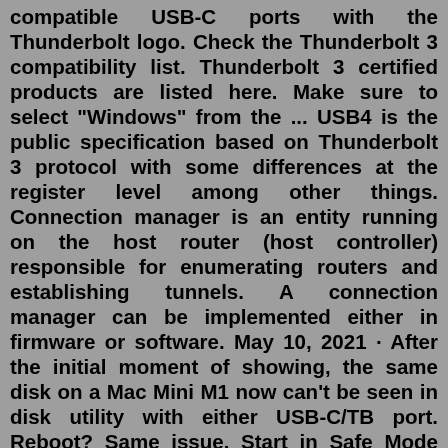compatible USB-C ports with the Thunderbolt logo. Check the Thunderbolt 3 compatibility list. Thunderbolt 3 certified products are listed here. Make sure to select "Windows" from the ... USB4 is the public specification based on Thunderbolt 3 protocol with some differences at the register level among other things. Connection manager is an entity running on the host router (host controller) responsible for enumerating routers and establishing tunnels. A connection manager can be implemented either in firmware or software. May 10, 2021 · After the initial moment of showing, the same disk on a Mac Mini M1 now can't be seen in disk utility with either USB-C/TB port. Reboot? Same issue. Start in Safe Mode (Apple Supports insistence) – Same. Create a new admin user (Apple Supports insistence) – Same. Try re-partition of the drive as APFS – Same. Jun 10, 2019 · hi everyone :) i buy fixed Dell Precision M7520 and i like to buy external graphic card and connect with thunderbolt port. but i dont know thunderbolt port working or no! are you know any